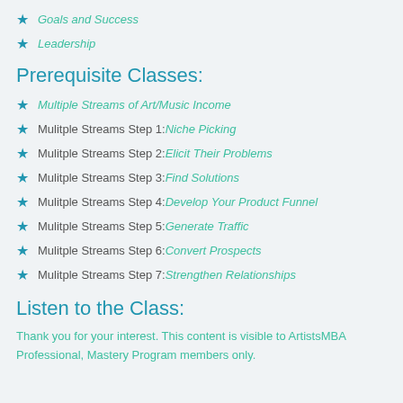Goals and Success
Leadership
Prerequisite Classes:
Multiple Streams of Art/Music Income
Mulitple Streams Step 1: Niche Picking
Mulitple Streams Step 2: Elicit Their Problems
Mulitple Streams Step 3: Find Solutions
Mulitple Streams Step 4: Develop Your Product Funnel
Mulitple Streams Step 5: Generate Traffic
Mulitple Streams Step 6: Convert Prospects
Mulitple Streams Step 7: Strengthen Relationships
Listen to the Class:
Thank you for your interest. This content is visible to ArtistsMBA Professional, Mastery Program members only.